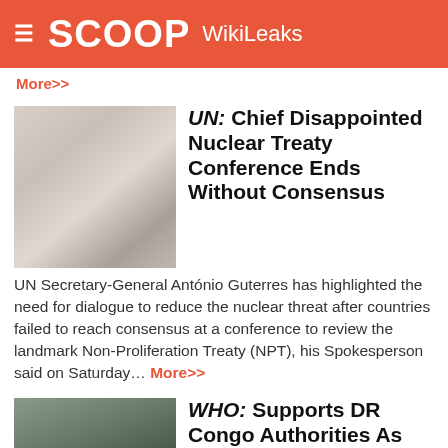SCOOP WikiLeaks
More>>
UN: Chief Disappointed Nuclear Treaty Conference Ends Without Consensus
UN Secretary-General António Guterres has highlighted the need for dialogue to reduce the nuclear threat after countries failed to reach consensus at a conference to review the landmark Non-Proliferation Treaty (NPT), his Spokesperson said on Saturday... More>>
WHO: Supports DR Congo Authorities As Ebola Resurges In Volatile East
Ebola has resurfaced in the Democratic Republic of the Congo (DRC) following